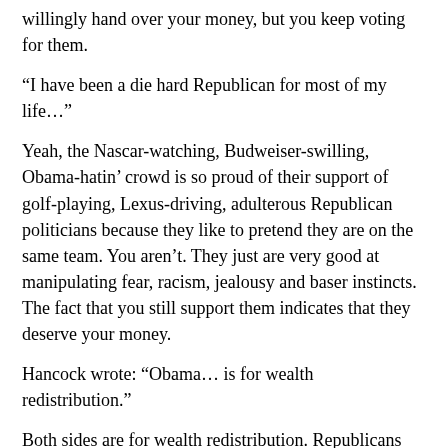willingly hand over your money, but you keep voting for them.
“I have been a die hard Republican for most of my life…”
Yeah, the Nascar-watching, Budweiser-swilling, Obama-hatin’ crowd is so proud of their support of golf-playing, Lexus-driving, adulterous Republican politicians because they like to pretend they are on the same team. You aren’t. They just are very good at manipulating fear, racism, jealousy and baser instincts. The fact that you still support them indicates that they deserve your money.
Hancock wrote: “Obama… is for wealth redistribution.”
Both sides are for wealth redistribution. Republicans are for redistributing it to billionaires, multi-millionaires, their high-priced lawyers and lobbyists, and corporations like Matco and Danaher.
Poor bastards like Todd have had what little wealth they could have had redistributed to the country club set, yet they’ll still vote for elitists like Romney because they want to pretend they are on the same team… Have you been invited to their country club lately, Todd? Sad sad sad, but also very amusing.